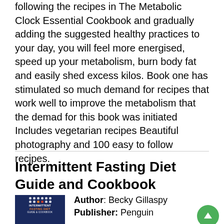following the recipes in The Metabolic Clock Essential Cookbook and gradually adding the suggested healthy practices to your day, you will feel more energised, speed up your metabolism, burn body fat and easily shed excess kilos. Book one has stimulated so much demand for recipes that work well to improve the metabolism that the demad for this book was initiated Includes vegetarian recipes Beautiful photography and 100 easy to follow recipes.
Intermittent Fasting Diet Guide and Cookbook
Author: Becky Gillaspy
Publisher: Penguin